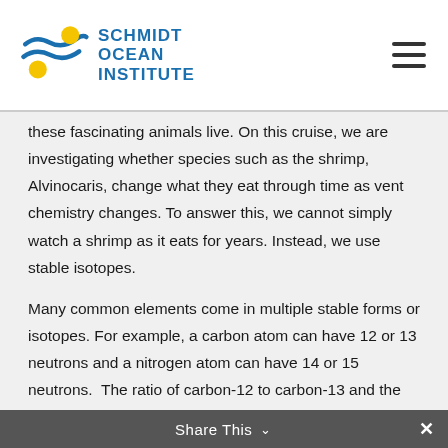SCHMIDT OCEAN INSTITUTE
these fascinating animals live. On this cruise, we are investigating whether species such as the shrimp, Alvinocaris, change what they eat through time as vent chemistry changes. To answer this, we cannot simply watch a shrimp as it eats for years. Instead, we use stable isotopes.
Many common elements come in multiple stable forms or isotopes. For example, a carbon atom can have 12 or 13 neutrons and a nitrogen atom can have 14 or 15 neutrons.  The ratio of carbon-12 to carbon-13 and the ratio of nitrogen isotopes in the tissue of animals can tell us what they eat.
Basically, you are what you eat. The stable isotope ratios of your tissue reflects what you eat. For example, chemosynthetic
Share This ∨  ×